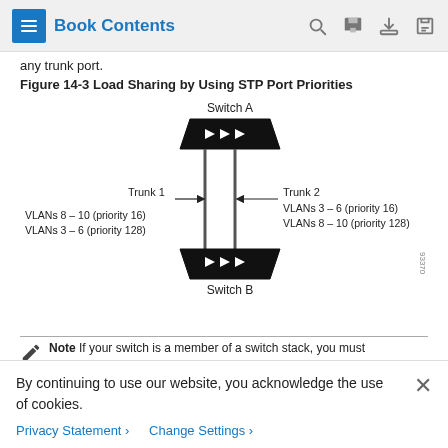Book Contents
any trunk port.
Figure 14-3 Load Sharing by Using STP Port Priorities
[Figure (network-graph): Network diagram showing Switch A at top connected to Switch B at bottom via two trunk links (Trunk 1 and Trunk 2). Trunk 1 (left): VLANs 8-10 (priority 16), VLANs 3-6 (priority 128). Trunk 2 (right): VLANs 3-6 (priority 16), VLANs 8-10 (priority 128).]
Note  If your switch is a member of a switch stack, you must
By continuing to use our website, you acknowledge the use of cookies.
Privacy Statement > Change Settings >